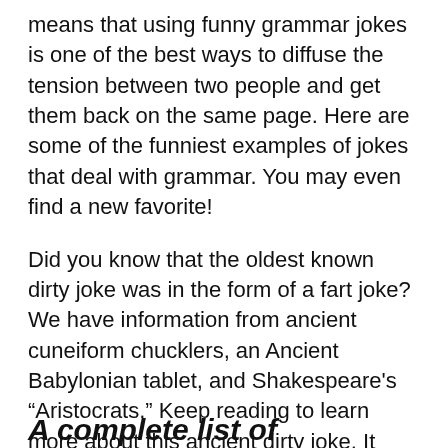means that using funny grammar jokes is one of the best ways to diffuse the tension between two people and get them back on the same page. Here are some of the funniest examples of jokes that deal with grammar. You may even find a new favorite!
Did you know that the oldest known dirty joke was in the form of a fart joke? We have information from ancient cuneiform chucklers, an Ancient Babylonian tablet, and Shakespeare's “Aristocrats.” Keep reading to learn more about this ancient dirty joke. It isn’t as old as you think – read on! Hopefully, you’ll find the information helpful and amusing!
A complete list of